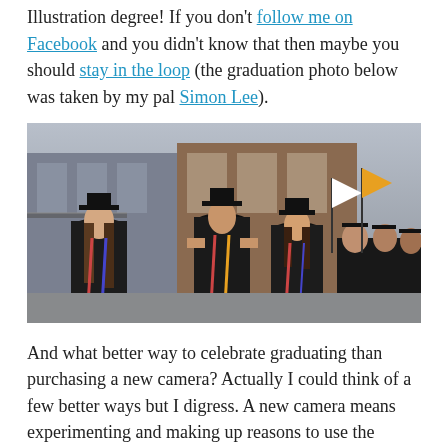Illustration degree! If you don't follow me on Facebook and you didn't know that then maybe you should stay in the loop (the graduation photo below was taken by my pal Simon Lee).
[Figure (photo): A group of college graduates in black caps and gowns walking in a graduation procession, with colorful sashes/cords, in an outdoor urban setting with brick buildings in the background.]
And what better way to celebrate graduating than purchasing a new camera? Actually I could think of a few better ways but I digress. A new camera means experimenting and making up reasons to use the